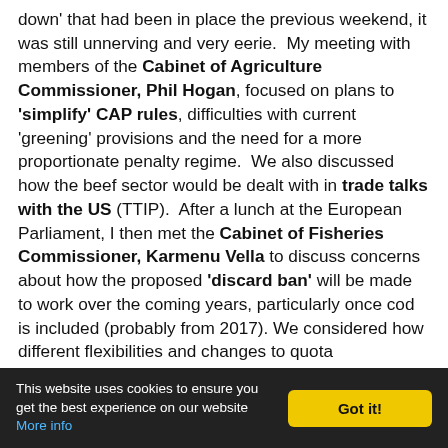down' that had been in place the previous weekend, it was still unnerving and very eerie. My meeting with members of the Cabinet of Agriculture Commissioner, Phil Hogan, focused on plans to 'simplify' CAP rules, difficulties with current 'greening' provisions and the need for a more proportionate penalty regime. We also discussed how the beef sector would be dealt with in trade talks with the US (TTIP). After a lunch at the European Parliament, I then met the Cabinet of Fisheries Commissioner, Karmenu Vella to discuss concerns about how the proposed 'discard ban' will be made to work over the coming years, particularly once cod is included (probably from 2017). We considered how different flexibilities and changes to quota arrangements might be introduced to enable the new system to work in practice. There was also a brief discussion of the deal struck with Faroe
This website uses cookies to ensure you get the best experience on our website More info